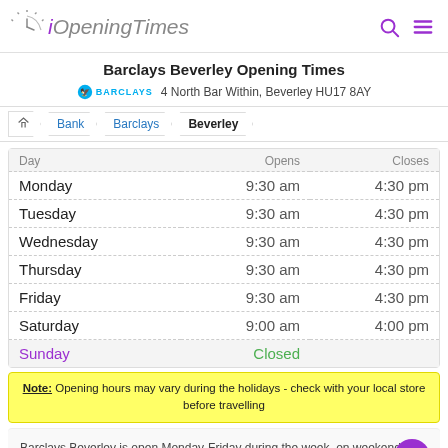iOpeningTimes
Barclays Beverley Opening Times
4 North Bar Within, Beverley HU17 8AY
Home > Bank > Barclays > Beverley
| Day | Opens | Closes |
| --- | --- | --- |
| Monday | 9:30 am | 4:30 pm |
| Tuesday | 9:30 am | 4:30 pm |
| Wednesday | 9:30 am | 4:30 pm |
| Thursday | 9:30 am | 4:30 pm |
| Friday | 9:30 am | 4:30 pm |
| Saturday | 9:00 am | 4:00 pm |
| Sunday | Closed |  |
Note: Opening hours may vary during the holidays - check with your local store before travelling
Barclays Beverley is open Monday-Friday during the week, on weekends they are open Saturday. Today they are closed.